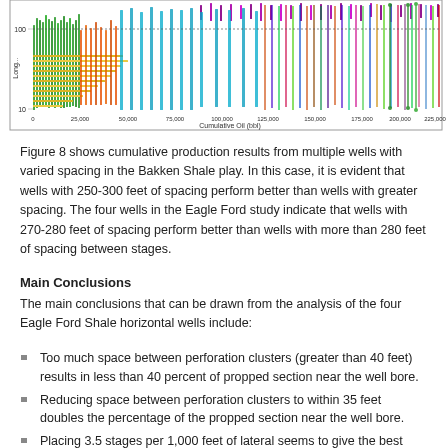[Figure (continuous-plot): Scatter plot of multiple wells with varied spacing in the Bakken Shale play showing Lateral Longitudinal Position vs Cumulative Oil (bbl). X-axis: Cumulative Oil from 0 to 225,000 bbl. Y-axis (log scale): 10 to 100+. Colorful dense scatter of data points.]
Figure 8 shows cumulative production results from multiple wells with varied spacing in the Bakken Shale play. In this case, it is evident that wells with 250-300 feet of spacing perform better than wells with greater spacing. The four wells in the Eagle Ford study indicate that wells with 270-280 feet of spacing perform better than wells with more than 280 feet of spacing between stages.
Main Conclusions
The main conclusions that can be drawn from the analysis of the four Eagle Ford Shale horizontal wells include:
Too much space between perforation clusters (greater than 40 feet) results in less than 40 percent of propped section near the well bore.
Reducing space between perforation clusters to within 35 feet doubles the percentage of the propped section near the well bore.
Placing 3.5 stages per 1,000 feet of lateral seems to give the best results.